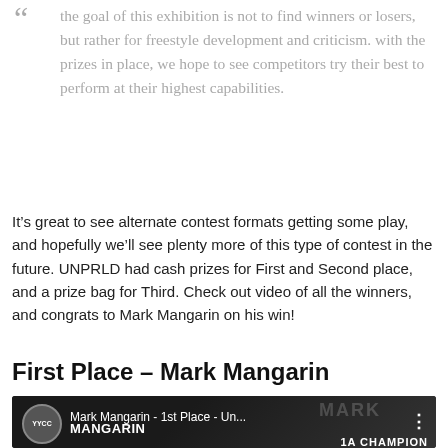“ the goal of this exhibition is not to find winners or losers, but rather for freestyle development and criticism. with the prizes in place, we hope to see competitors try their best to perform at their highest capabilities.
It’s great to see alternate contest formats getting some play, and hopefully we’ll see plenty more of this type of contest in the future. UNPRLD had cash prizes for First and Second place, and a prize bag for Third. Check out video of all the winners, and congrats to Mark Mangarin on his win!
First Place – Mark Mangarin
[Figure (screenshot): YouTube video thumbnail showing Mark Mangarin - 1st Place - Un... with YYCC channel avatar, title overlay showing MARK MANGARIN 1A CHAMPION in bold white text on dark background]